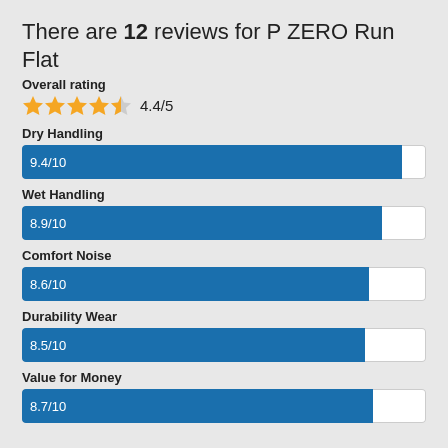There are 12 reviews for P ZERO Run Flat
Overall rating
4.4/5
[Figure (bar-chart): Dry Handling / Wet Handling / Comfort Noise / Durability Wear / Value for Money]